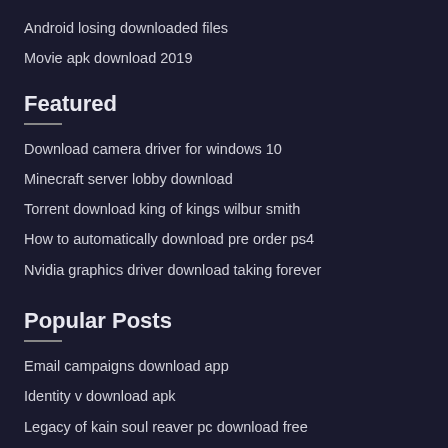Android losing downloaded files
Movie apk download 2019
Featured
Download camera driver for windows 10
Minecraft server lobby download
Torrent download king of kings wilbur smith
How to automatically download pre order ps4
Nvidia graphics driver download taking forever
Popular Posts
Email campaigns download app
Identity v download apk
Legacy of kain soul reaver pc download free